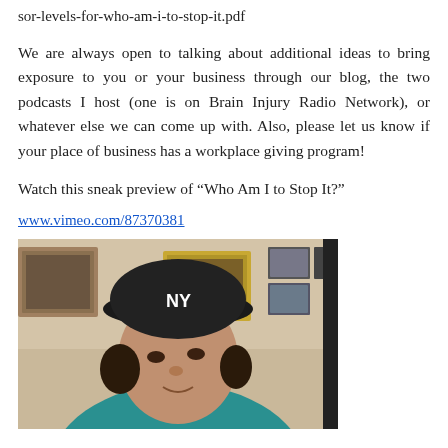sor-levels-for-who-am-i-to-stop-it.pdf
We are always open to talking about additional ideas to bring exposure to you or your business through our blog, the two podcasts I host (one is on Brain Injury Radio Network), or whatever else we can come up with. Also, please let us know if your place of business has a workplace giving program!
Watch this sneak preview of “Who Am I to Stop It?”
www.vimeo.com/87370381
[Figure (photo): A person wearing a black NY Yankees cap and teal shirt, looking upward, with framed photos on the wall behind them.]